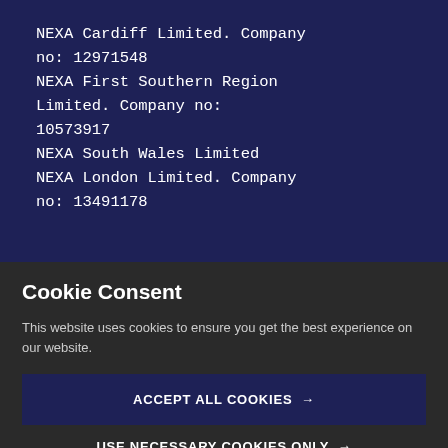NEXA Cardiff Limited. Company no: 12971548 NEXA First Southern Region Limited. Company no: 10573917 NEXA South Wales Limited NEXA London Limited. Company no: 13491178
Cookie Consent
This website uses cookies to ensure you get the best experience on our website.
ACCEPT ALL COOKIES →
USE NECESSARY COOKIES ONLY →